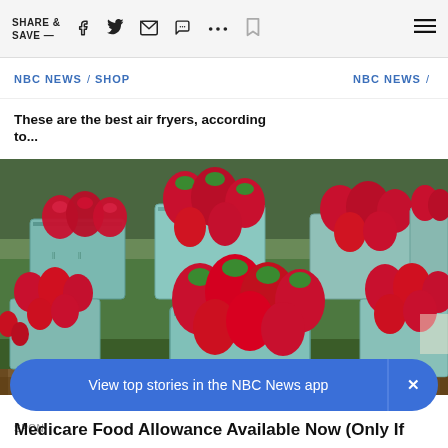SHARE & SAVE —
NBC NEWS / SHOP    NBC NEWS /
These are the best air fryers, according to...
Putin won't scheduling
[Figure (photo): Multiple baskets/cartons of fresh red strawberries arranged on a green-covered market display table]
View top stories in the NBC News app
SPON
Medicare Food Allowance Available Now (Only If